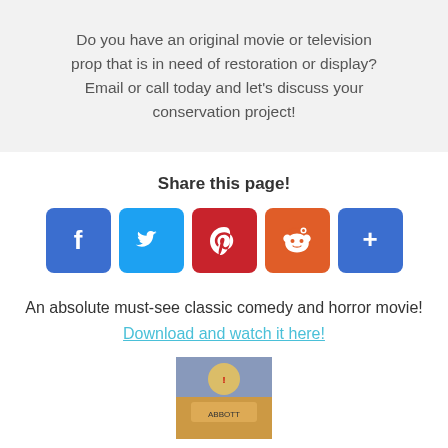Do you have an original movie or television prop that is in need of restoration or display? Email or call today and let’s discuss your conservation project!
Share this page!
[Figure (infographic): Five social media share buttons: Facebook (blue), Twitter (light blue), Pinterest (red), Reddit (orange), and a generic share button (blue), each as rounded square icons with white logos.]
An absolute must-see classic comedy and horror movie!
Download and watch it here!
[Figure (photo): Partial movie poster image at bottom, appears to be Abbott and Costello related comedy/horror film.]